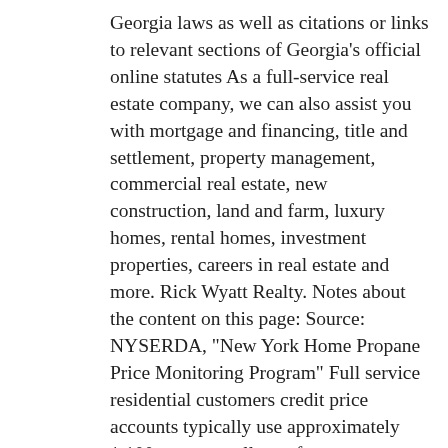Georgia laws as well as citations or links to relevant sections of Georgia's official online statutes As a full-service real estate company, we can also assist you with mortgage and financing, title and settlement, property management, commercial real estate, new construction, land and farm, luxury homes, rental homes, investment properties, careers in real estate and more. Rick Wyatt Realty. Notes about the content on this page: Source: NYSERDA, "New York Home Propane Price Monitoring Program" Full service residential customers credit price accounts typically use approximately 1,100 or more gallons of propane annually May 28, 2020 · The latest pending home sales numbers reveal the greatest decline since NAR began tracking such transactions in January 2001. Perfec. From Georgia sign and lighting repair, sign removal, large graphic installations to fabricating custom monument signs, Custom Graphics Georgia is here for all of your Sign and. Also review up-to-date market